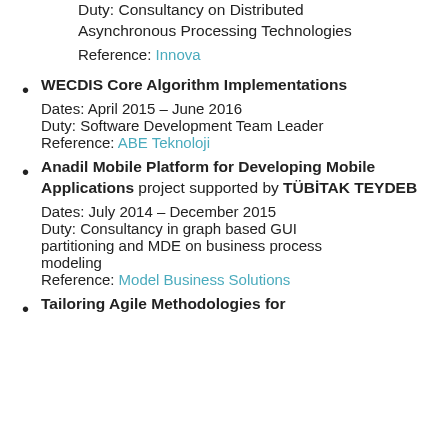Duty: Consultancy on Distributed Asynchronous Processing Technologies
Reference: Innova
WECDIS Core Algorithm Implementations
Dates: April 2015 – June 2016
Duty: Software Development Team Leader
Reference: ABE Teknoloji
Anadil Mobile Platform for Developing Mobile Applications project supported by TÜBİTAK TEYDEB
Dates: July 2014 – December 2015
Duty: Consultancy in graph based GUI partitioning and MDE on business process modeling
Reference: Model Business Solutions
Tailoring Agile Methodologies for